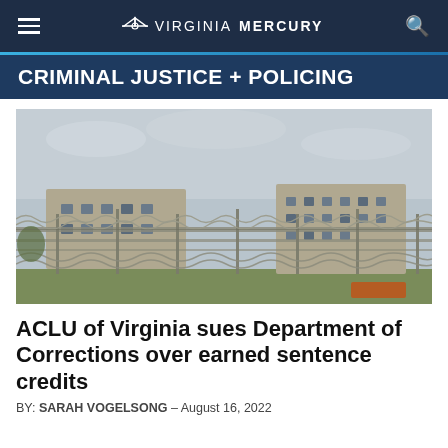Virginia Mercury
CRIMINAL JUSTICE + POLICING
[Figure (photo): Prison facility exterior with chain-link fences topped with razor wire, large concrete building in background, overcast sky]
ACLU of Virginia sues Department of Corrections over earned sentence credits
BY: SARAH VOGELSONG – August 16, 2022